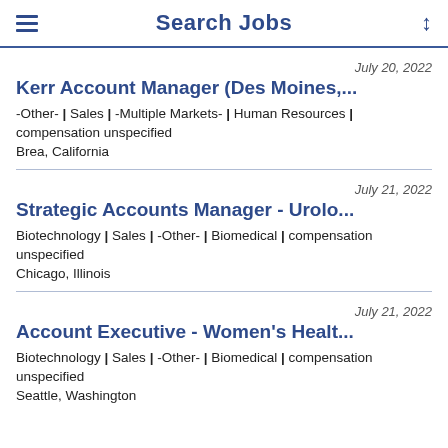Search Jobs
July 20, 2022 | Kerr Account Manager (Des Moines,... | -Other- | Sales | -Multiple Markets- | Human Resources | compensation unspecified | Brea, California
July 21, 2022 | Strategic Accounts Manager - Urolo... | Biotechnology | Sales | -Other- | Biomedical | compensation unspecified | Chicago, Illinois
July 21, 2022 | Account Executive - Women's Healt... | Biotechnology | Sales | -Other- | Biomedical | compensation unspecified | Seattle, Washington